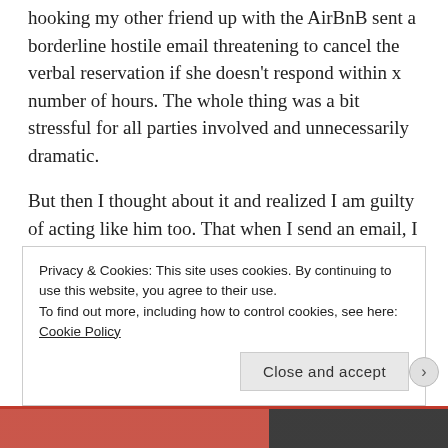hooking my other friend up with the AirBnB sent a borderline hostile email threatening to cancel the verbal reservation if she doesn’t respond within x number of hours. The whole thing was a bit stressful for all parties involved and unnecessarily dramatic.
But then I thought about it and realized I am guilty of acting like him too. That when I send an email, I expect a response within a day. Which got me wondering: “Do digital people expect too much from others who have different behaviors than us? Do I cause unnecessary drama, stress and negativity
Privacy & Cookies: This site uses cookies. By continuing to use this website, you agree to their use.
To find out more, including how to control cookies, see here: Cookie Policy
Close and accept